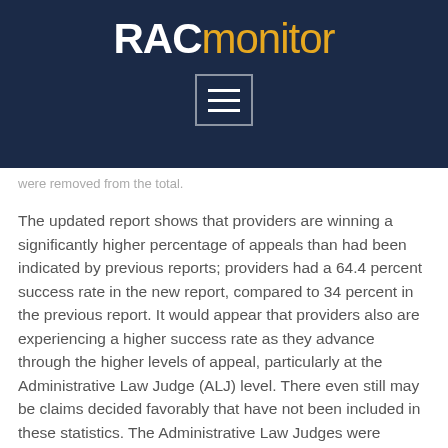[Figure (logo): RACmonitor logo — RAC in bold white, monitor in gold/orange — on dark navy background with a hamburger menu button below]
were removed from the total.
The updated report shows that providers are winning a significantly higher percentage of appeals than had been indicated by previous reports; providers had a 64.4 percent success rate in the new report, compared to 34 percent in the previous report. It would appear that providers also are experiencing a higher success rate as they advance through the higher levels of appeal, particularly at the Administrative Law Judge (ALJ) level. There even still may be claims decided favorably that have not been included in these statistics. The Administrative Law Judges were